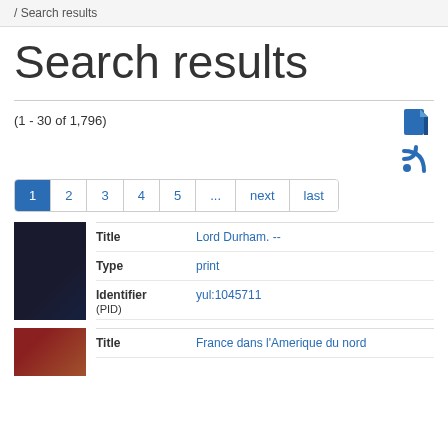/ Search results
Search results
(1 - 30 of 1,796)
| Title | Type | Identifier (PID) |
| --- | --- | --- |
| Lord Durham. -- | print | yul:1045711 |
| Title |
| --- |
| France dans l'Amerique du nord |